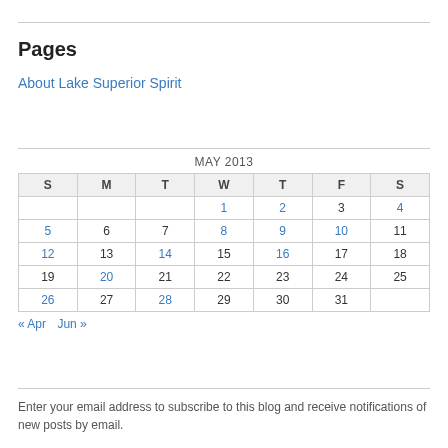Pages
About Lake Superior Spirit
| S | M | T | W | T | F | S |
| --- | --- | --- | --- | --- | --- | --- |
|  |  |  | 1 | 2 | 3 | 4 |
| 5 | 6 | 7 | 8 | 9 | 10 | 11 |
| 12 | 13 | 14 | 15 | 16 | 17 | 18 |
| 19 | 20 | 21 | 22 | 23 | 24 | 25 |
| 26 | 27 | 28 | 29 | 30 | 31 |  |
« Apr   Jun »
Enter your email address to subscribe to this blog and receive notifications of new posts by email.